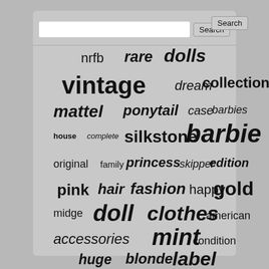[Figure (infographic): Word cloud of search tags related to Barbie dolls, including words: nrfb, rare, dolls, vintage, dream, collection, mattel, ponytail, case, barbies, model, house, complete, silkstone, barbie, original, family, princess, skipper, edition, pink, hair, fashion, happy, gold, midge, doll, clothes, american, accessories, mint, condition, huge, blonde, label]
Search